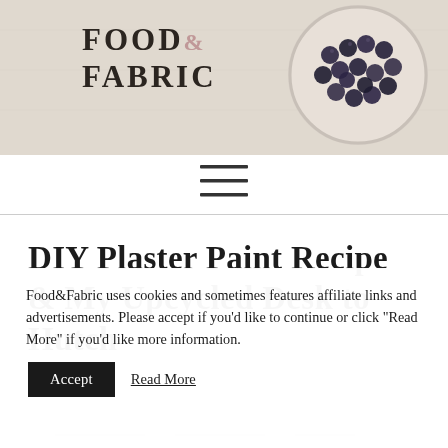[Figure (illustration): Food & Fabric blog header banner with logo text and a bowl of blueberries photo on a linen-colored background]
FOOD & FABRIC
[Figure (other): Hamburger menu icon (three horizontal lines)]
DIY Plaster Paint Recipe & My Upcycled Desk to Hutch
Food&Fabric uses cookies and sometimes features affiliate links and advertisements. Please accept if you'd like to continue or click "Read More" if you'd like more information.